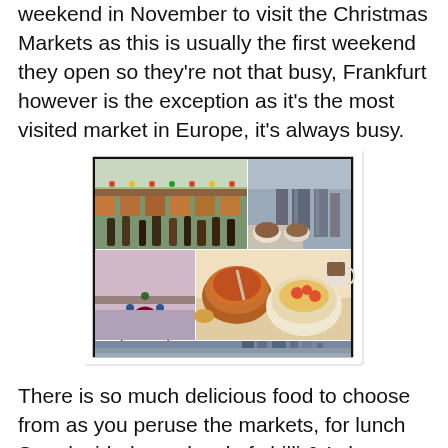weekend in November to visit the Christmas Markets as this is usually the first weekend they open so they're not that busy, Frankfurt however is the exception as it's the most visited market in Europe, it's always busy.
[Figure (photo): A collage of five photos showing Frankfurt Christmas Market scenes: market stalls with crowds, a city skyline view, a decorative gate/arch, bowls of chilli/goulash soup, and a coffee/food closeup.]
There is so much delicious food to choose from as you peruse the markets, for lunch Sue decided on a bowl of chilli & I chose a bowl of beef goulash, both came with fresh crusty